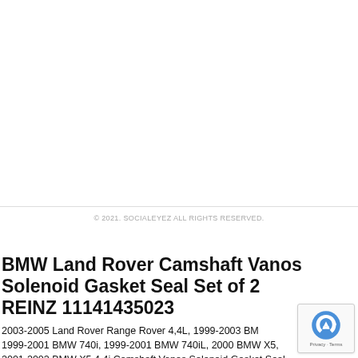© 2021. SOCIALEYEZ ALL RIGHTS RESERVED.
BMW Land Rover Camshaft Vanos Solenoid Gasket Seal Set of 2 REINZ 11141435023
2003-2005 Land Rover Range Rover 4,4L, 1999-2003 BMW 740i, 1999-2001 BMW 740i, 1999-2001 BMW 740iL, 2000 BMW X5, 2001-2002 BMW X5 4.4i Camshaft Vanos Solenoid Gasket Seal